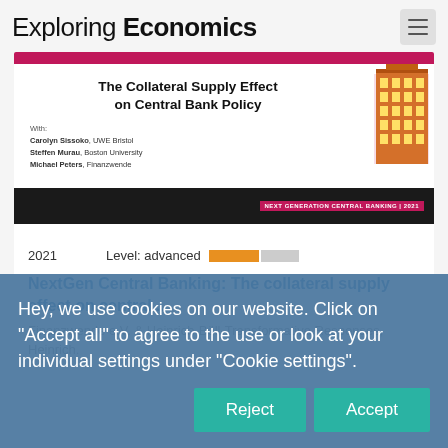Exploring Economics
[Figure (illustration): Book cover: The Collateral Supply Effect on Central Bank Policy. With Carolyn Sissoko UWE Bristol, Steffen Murau Boston University, Michael Peters Finanzwende. Next Generation Central Banking 2021. Shows a stylized building illustration on the right side.]
2021   Level: advanced
NextGen Central Banking: The collateral supply effect on central...
Finanzwende e.V. & Heinrich-Böll-Transformative Responses, Heinrich.
Hey, we use cookies on our website. Click on "Accept all" to agree to the use or look at your individual settings under "Cookie settings".